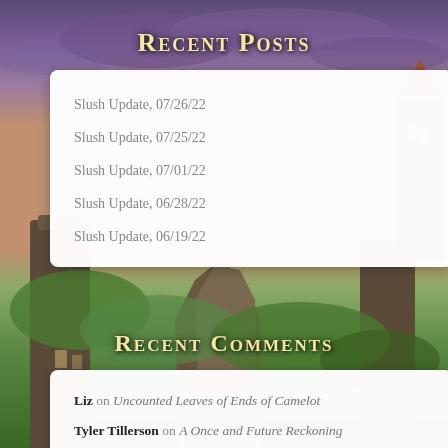[Figure (illustration): Fantasy landscape background with purple sky, rocky cliffs, green forests, and a castle tower on the right side.]
Recent Posts
Slush Update, 07/26/22
Slush Update, 07/25/22
Slush Update, 07/01/22
Slush Update, 06/28/22
Slush Update, 06/19/22
Recent Comments
Liz on Uncounted Leaves of Ends of Camelot
Tyler Tillerson on A Once and Future Reckoning
Rita Chen on Different Kinds of Thorn
Sophie on Uncounted Leaves of Ends of Camelot
Sophie on A Once and Future Reckoning